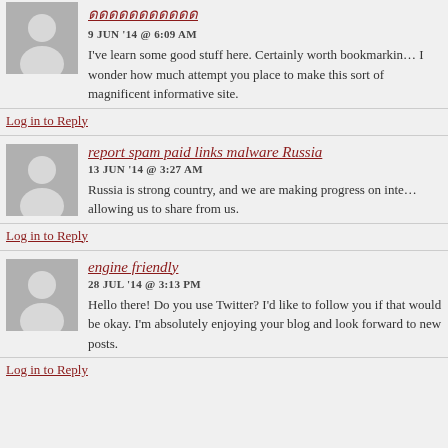ดดดดดดดดดดด
9 JUN '14 @ 6:09 AM
I've learn some good stuff here. Certainly worth bookmarking. I wonder how much attempt you place to make this sort of magnificent informative site.
Log in to Reply
report spam paid links malware Russia
13 JUN '14 @ 3:27 AM
Russia is strong country, and we are making progress on internet allowing us to share from us.
Log in to Reply
engine friendly
28 JUL '14 @ 3:13 PM
Hello there! Do you use Twitter? I'd like to follow you if that would be okay. I'm absolutely enjoying your blog and look forward to new posts.
Log in to Reply